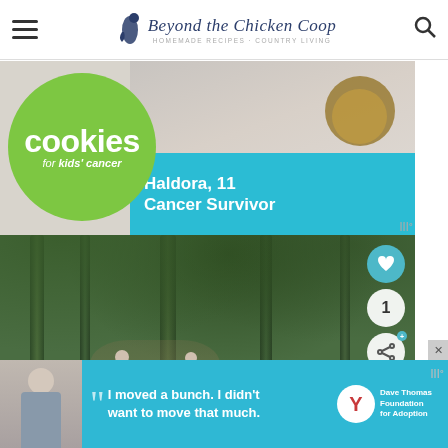Beyond the Chicken Coop — Homemade Recipes · Country Living
[Figure (photo): Advertisement banner for Cookies for Kids' Cancer featuring a green circle logo and teal overlay showing 'Haldora, 11 Cancer Survivor']
[Figure (photo): Outdoor forest path photo with people walking, including a person in a pink top and another in blue. Social share buttons visible on right. 'What's Next' overlay showing 'From Our Little Farm'.]
[Figure (photo): Advertisement banner: Dave Thomas Foundation for Adoption with quote 'I moved a bunch. I didn't want to move that much.']